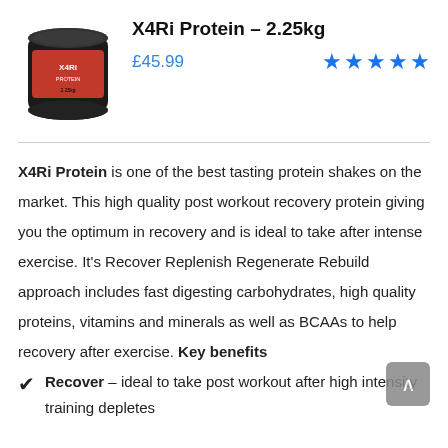[Figure (photo): X4Ri Protein 2.25kg black tub with red label]
X4Ri Protein – 2.25kg
£45.99
[Figure (other): 5 blue star rating icons]
X4Ri Protein is one of the best tasting protein shakes on the market. This high quality post workout recovery protein giving you the optimum in recovery and is ideal to take after intense exercise. It's Recover Replenish Regenerate Rebuild approach includes fast digesting carbohydrates, high quality proteins, vitamins and minerals as well as BCAAs to help recovery after exercise. Key benefits
✓  Recover – ideal to take post workout after high intensity training depletes